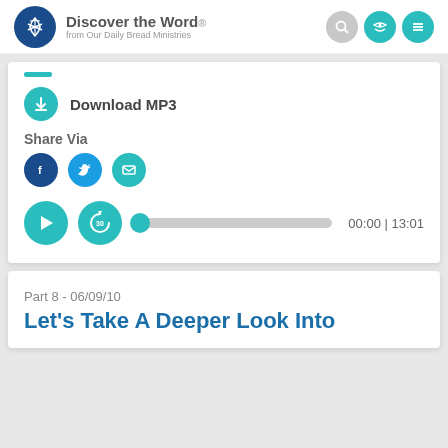[Figure (logo): Discover the Word logo from Our Daily Bread Ministries with navigation icons]
[Figure (screenshot): Download MP3 button with teal download icon]
Share Via
[Figure (screenshot): Share via Facebook, Twitter, and Email social icons]
[Figure (screenshot): Audio player with play button, 30-second rewind, progress bar showing 00:00 | 13:01]
Part 8 - 06/09/10
Let’s Take A Deeper Look Into